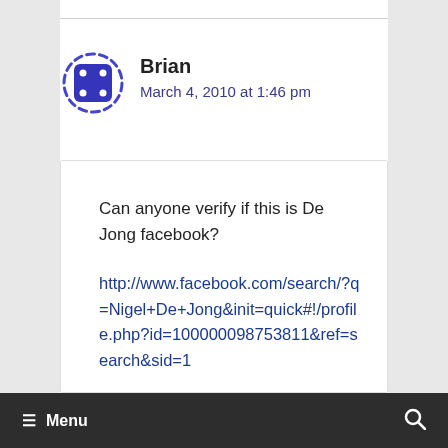Brian
March 4, 2010 at 1:46 pm
Can anyone verify if this is De Jong facebook?
http://www.facebook.com/search/?q=Nigel+De+Jong&init=quick#!/profile.php?id=100000098753811&ref=search&sid=1
Menu